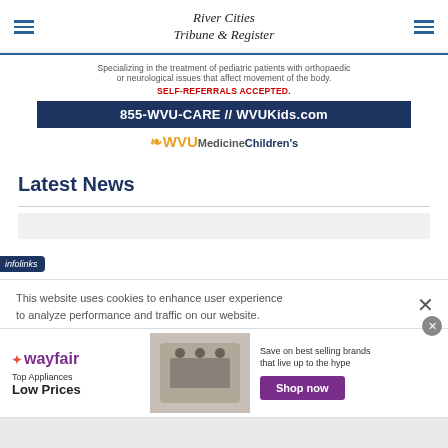River Cities Tribune & Register
[Figure (infographic): WVU Medicine Children's advertisement with tagline, self-referrals accepted, phone number 855-WVU-CARE and WVUKids.com, and WVU Medicine Children's logo]
Latest News
This website uses cookies to enhance user experience to analyze performance and traffic on our website.
[Figure (infographic): Wayfair advertisement: Top Appliances Low Prices, Save on best selling brands that live up to the hype, Shop now button]